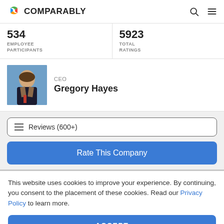COMPARABLY
534 EMPLOYEE PARTICIPANTS
5923 TOTAL RATINGS
CEO Gregory Hayes
Reviews (600+)
Rate This Company
This website uses cookies to improve your experience. By continuing, you consent to the placement of these cookies. Read our Privacy Policy to learn more.
ACCEPT